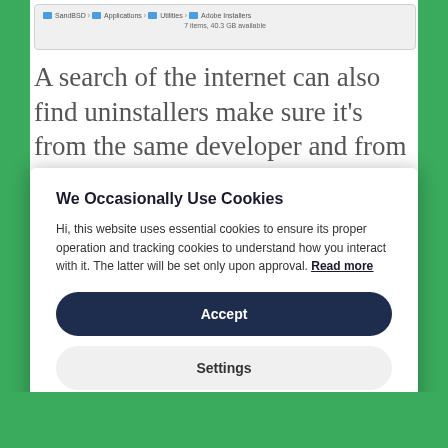[Figure (screenshot): macOS Finder window toolbar showing path: SandBSD > Applications > Utilities > Adobe Installers, with '7 items, 40.3 GB available' centered below]
A search of the internet can also find uninstallers make sure it's from the same developer and from the developer's website you don't want to download just
We Occasionally Use Cookies
Hi, this website uses essential cookies to ensure its proper operation and tracking cookies to understand how you interact with it. The latter will be set only upon approval. Read more
Accept
Settings